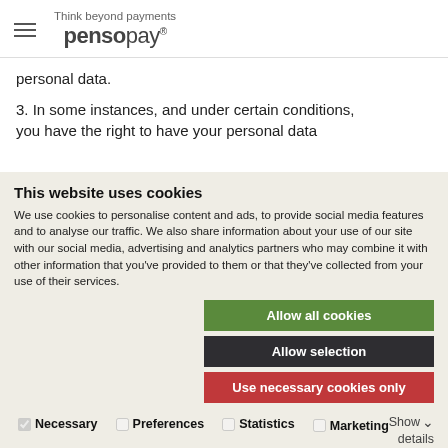Think beyond payments pensopay
personal data.
3. In some instances, and under certain conditions, you have the right to have your personal data
This website uses cookies
We use cookies to personalise content and ads, to provide social media features and to analyse our traffic. We also share information about your use of our site with our social media, advertising and analytics partners who may combine it with other information that you've provided to them or that they've collected from your use of their services.
Allow all cookies
Allow selection
Use necessary cookies only
Necessary  Preferences  Statistics  Marketing  Show details